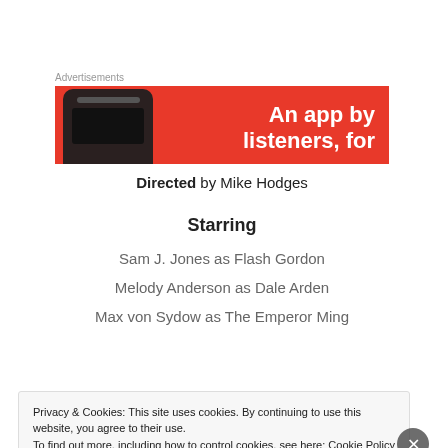Advertisements
[Figure (other): Red advertisement banner with phone image and text 'An app by listeners, for']
Directed by Mike Hodges
Starring
Sam J. Jones as Flash Gordon
Melody Anderson as Dale Arden
Max von Sydow as The Emperor Ming
Privacy & Cookies: This site uses cookies. By continuing to use this website, you agree to their use.
To find out more, including how to control cookies, see here: Cookie Policy
Close and accept